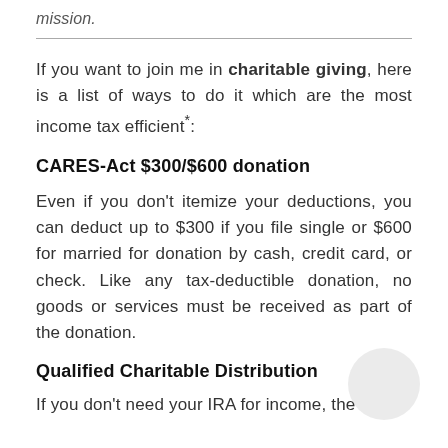mission.
If you want to join me in charitable giving, here is a list of ways to do it which are the most income tax efficient*:
CARES-Act $300/$600 donation
Even if you don't itemize your deductions, you can deduct up to $300 if you file single or $600 for married for donation by cash, credit card, or check. Like any tax-deductible donation, no goods or services must be received as part of the donation.
Qualified Charitable Distribution
If you don't need your IRA for income, the